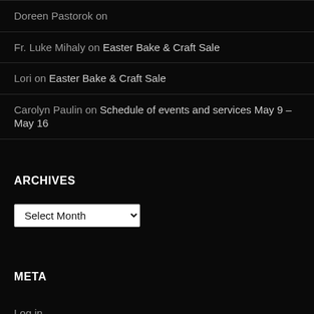Doreen Pastorok on
Fr. Luke Mihaly on Easter Bake & Craft Sale
Lori on Easter Bake & Craft Sale
Carolyn Paulin on Schedule of events and services May 9 – May 16
ARCHIVES
Select Month (dropdown)
META
Log in
Entries feed